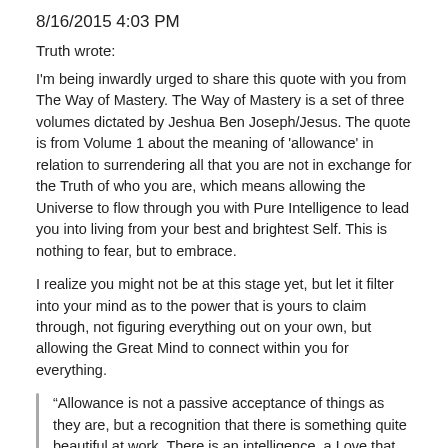8/16/2015 4:03 PM
Truth wrote:
I'm being inwardly urged to share this quote with you from The Way of Mastery. The Way of Mastery is a set of three volumes dictated by Jeshua Ben Joseph/Jesus. The quote is from Volume 1 about the meaning of 'allowance' in relation to surrendering all that you are not in exchange for the Truth of who you are, which means allowing the Universe to flow through you with Pure Intelligence to lead you into living from your best and brightest Self. This is nothing to fear, but to embrace.
I realize you might not be at this stage yet, but let it filter into your mind as to the power that is yours to claim through, not figuring everything out on your own, but allowing the Great Mind to connect within you for everything.
“Allowance is not a passive acceptance of things as they are, but a recognition that there is something quite beautiful at work. There is an intelligence, a Love that knows you better than you know yourself and is presenting you, moment to moment, with jewels and gems and blessings and lessons that something is weaving the tapestry of your life, and nothing is